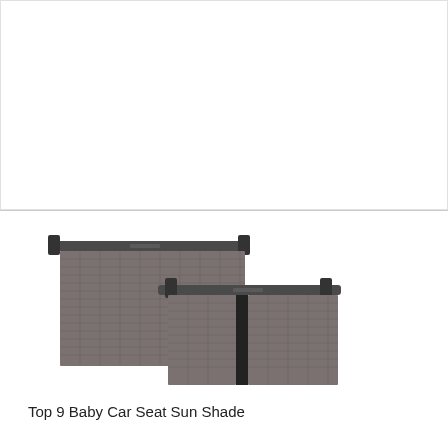[Figure (photo): Two Orbit baby car seat sun shades with dark gray mesh fabric and black mounting brackets, displayed side by side at slightly different angles.]
Top 9 Baby Car Seat Sun Shade